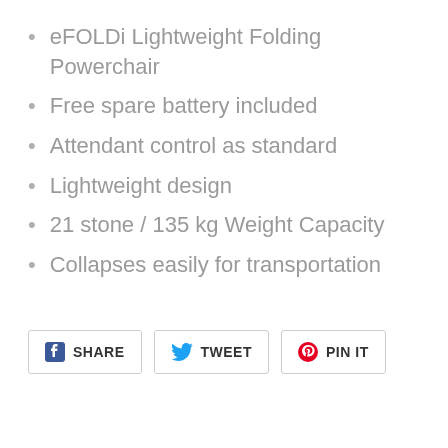eFOLDi Lightweight Folding Powerchair
Free spare battery included
Attendant control as standard
Lightweight design
21 stone / 135 kg Weight Capacity
Collapses easily for transportation
SHARE   TWEET   PIN IT